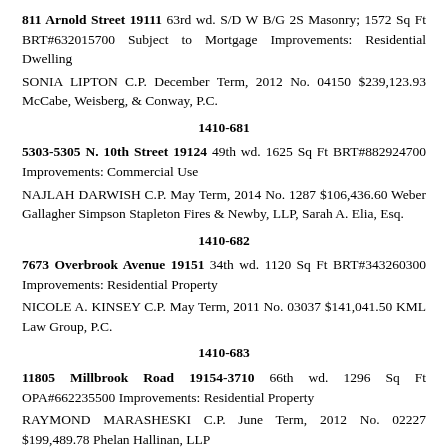811 Arnold Street 19111 63rd wd. S/D W B/G 2S Masonry; 1572 Sq Ft BRT#632015700 Subject to Mortgage Improvements: Residential Dwelling
SONIA LIPTON C.P. December Term, 2012 No. 04150 $239,123.93 McCabe, Weisberg, & Conway, P.C.
1410-681
5303-5305 N. 10th Street 19124 49th wd. 1625 Sq Ft BRT#882924700 Improvements: Commercial Use
NAJLAH DARWISH C.P. May Term, 2014 No. 1287 $106,436.60 Weber Gallagher Simpson Stapleton Fires & Newby, LLP, Sarah A. Elia, Esq.
1410-682
7673 Overbrook Avenue 19151 34th wd. 1120 Sq Ft BRT#343260300 Improvements: Residential Property
NICOLE A. KINSEY C.P. May Term, 2011 No. 03037 $141,041.50 KML Law Group, P.C.
1410-683
11805 Millbrook Road 19154-3710 66th wd. 1296 Sq Ft OPA#662235500 Improvements: Residential Property
RAYMOND MARASHESKI C.P. June Term, 2012 No. 02227 $199,489.78 Phelan Hallinan, LLP